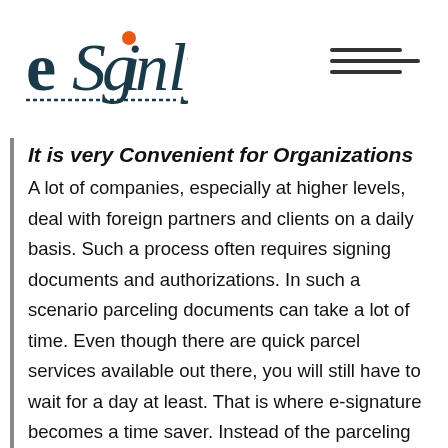[Figure (logo): eSignly logo — stylized cursive text with orange 'i' dot]
It is very Convenient for Organizations
A lot of companies, especially at higher levels, deal with foreign partners and clients on a daily basis. Such a process often requires signing documents and authorizations. In such a scenario parceling documents can take a lot of time. Even though there are quick parcel services available out there, you will still have to wait for a day at least. That is where e-signature becomes a time saver. Instead of the parceling documents via courier, you can just scan and email them. After that, you can sign in using any e-signature application and the